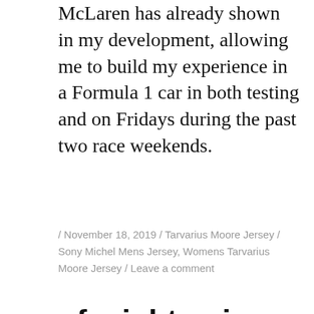McLaren has already shown in my development, allowing me to build my experience in a Formula 1 car in both testing and on Fridays during the past two race weekends.
/ November 18, 2019 / Tarvarius Moore Jersey / Sony Michel Mens Jersey, Womens Tarvarius Moore Jersey / Leave a comment
of might going 56 yards
To find all players born within a certain month and year, for example all players born in December of 1985, choose the month and year with the drop down boxes and then choose the